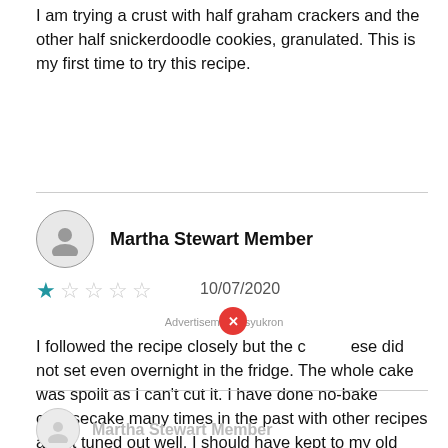I am trying a crust with half graham crackers and the other half snickerdoodle cookies, granulated. This is my first time to try this recipe.
Martha Stewart Member
★☆☆☆☆ 10/07/2020
Advertisement - syukron
I followed the recipe closely but the cheese did not set even overnight in the fridge. The whole cake was spoilt as I can't cut it. I have done no-bake cheesecake many times in the past with other recipes and it tuned out well. I should have kept to my old recipe and not try this one.
Martha Stewart Member